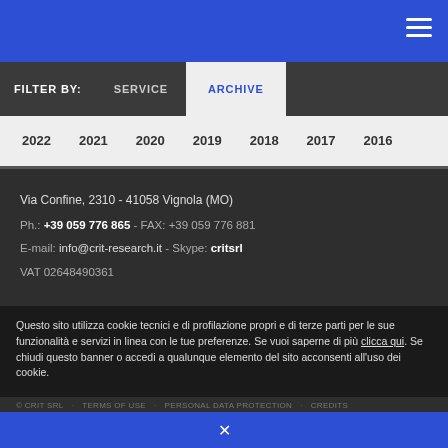FILTER BY:  SERVICE  ARCHIVE
2022  2021  2020  2019  2018  2017  2016
Via Confine, 2310 - 41058 Vignola (MO)
Ph.: +39 059 776 865 - FAX: +39 059 776 881
E-mail: info@crit-research.it - Skype: critsrl
VAT 02648490361
Questo sito utilizza cookie tecnici e di profilazione propri e di terze parti per le sue funzionalità e servizi in linea con le tue preferenze. Se vuoi saperne di più clicca qui. Se chiudi questo banner o accedi a qualunque elemento del sito acconsenti all'uso dei cookie.
© CRIT SRL · TERMS OF USE · PERSONAL DATA PROTECTION · CREDITS